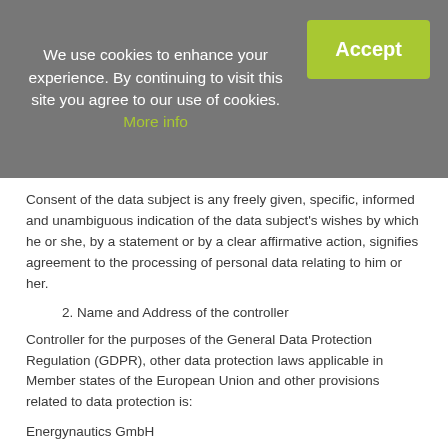We use cookies to enhance your experience. By continuing to visit this site you agree to our use of cookies. More info
Consent of the data subject is any freely given, specific, informed and unambiguous indication of the data subject's wishes by which he or she, by a statement or by a clear affirmative action, signifies agreement to the processing of personal data relating to him or her.
2. Name and Address of the controller
Controller for the purposes of the General Data Protection Regulation (GDPR), other data protection laws applicable in Member states of the European Union and other provisions related to data protection is:
Energynautics GmbH
Robert-Bosch-Straße 7
64293 Darmstadt
Germany